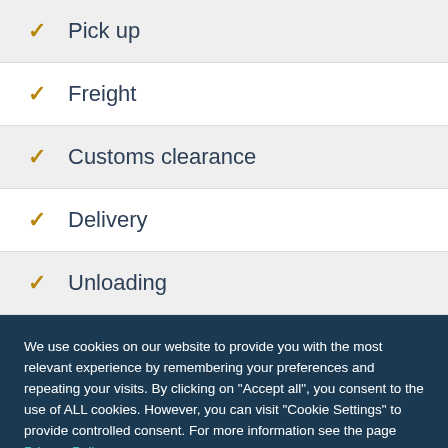Pick up
Freight
Customs clearance
Delivery
Unloading
We use cookies on our website to provide you with the most relevant experience by remembering your preferences and repeating your visits. By clicking on "Accept all", you consent to the use of ALL cookies. However, you can visit "Cookie Settings" to provide controlled consent. For more information see the page Privacy Policy.